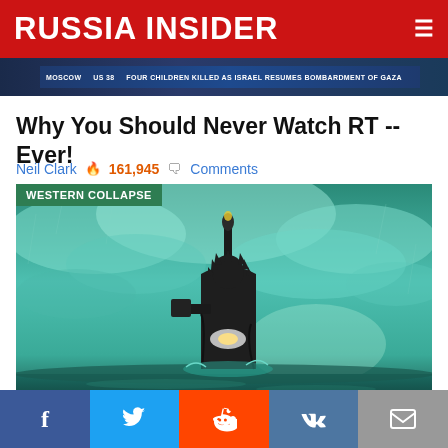RUSSIA INSIDER
[Figure (screenshot): Top news ticker bar showing partial headline text about children killed]
Why You Should Never Watch RT -- Ever!
Neil Clark  🔥 161,945  💬 Comments
[Figure (photo): Dramatic photo of Statue of Liberty submerged in stormy teal-tinted floodwaters with dark clouds, with 'WESTERN COLLAPSE' category badge overlaid]
The US Outspends Russia 10X On Military, But They Are
Social sharing bar: Facebook, Twitter, Reddit, VK, Email